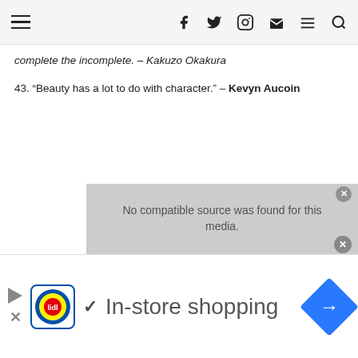Navigation bar with hamburger menu and social/utility icons
complete the incomplete.  – Kakuzo Okakura
43. “Beauty has a lot to do with character.” – Kevyn Aucoin
[Figure (screenshot): Video player error message: No compatible source was found for this media]
[Figure (screenshot): Lidl advertisement banner: In-store shopping with Lidl logo, checkmark, and navigation icon]